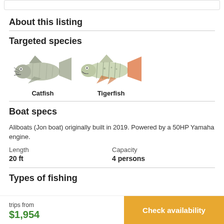About this listing
Targeted species
[Figure (illustration): Illustration of a Catfish (grey, whiskered fish facing left) labeled 'Catfish']
[Figure (illustration): Illustration of a Tigerfish (striped fish with orange-red fins facing left) labeled 'Tigerfish']
Boat specs
Aliboats (Jon boat) originally built in 2019. Powered by a 50HP Yamaha engine.
| Length | Capacity |
| --- | --- |
| 20 ft | 4 persons |
Types of fishing
trips from
$1,954
Check availability